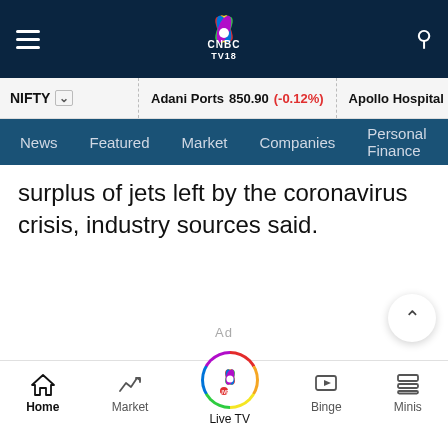CNBC TV18 - Navigation bar with hamburger menu, CNBC TV18 logo, and search icon
NIFTY ▾  |  Adani Ports 850.90 (-0.12%)  |  Apollo Hospital 4282.55 (-0...
News  Featured  Market  Companies  Personal Finance
surplus of jets left by the coronavirus crisis, industry sources said.
Ad
Home  Market  Live TV  Binge  Minis